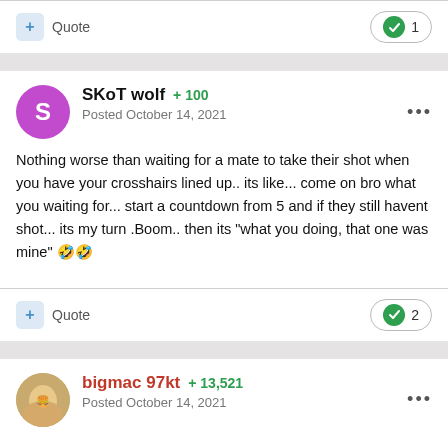+ Quote  [like icon] 1
SKoT wolf +100
Posted October 14, 2021

Nothing worse than waiting for a mate to take their shot when you have your crosshairs lined up.. its like... come on bro what you waiting for... start a countdown from 5 and if they still havent shot... its my turn .Boom.. then its "what you doing, that one was mine" 🤣🤣
+ Quote  [like icon] 2
bigmac 97kt +13,521
Posted October 14, 2021